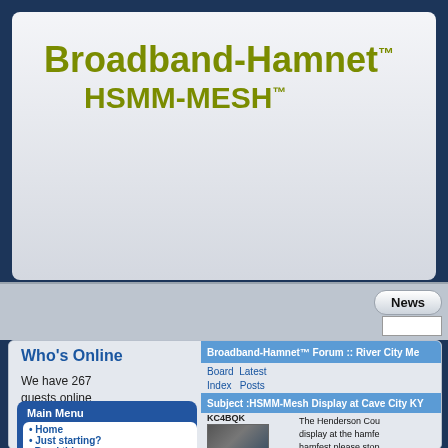[Figure (screenshot): Broadband-Hamnet HSMM-MESH website screenshot showing logo, navigation, Who's Online sidebar with 267 guests, Main Menu with Home/Just starting?/Web Links/HSMM-MESH Forums/Awards, and forum post about HSMM-Mesh Display at Cave City KY with user KC4BQK and photo of radio equipment]
Broadband-Hamnet™ HSMM-MESH™
Who's Online
We have 267 guests online
Main Menu
Home
Just starting? Read this
Web Links
HSMM-MESH™ Forums
Awards
Broadband-Hamnet™ Forum :: River City Me
Board Index   Latest Posts
Subject :HSMM-Mesh Display at Cave City KY
KC4BQK
The Henderson Cou display at the hamfe hamfest please stop
73